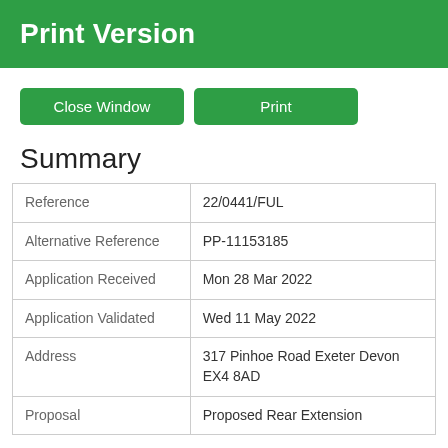Print Version
Close Window  Print
Summary
|  |  |
| --- | --- |
| Reference | 22/0441/FUL |
| Alternative Reference | PP-11153185 |
| Application Received | Mon 28 Mar 2022 |
| Application Validated | Wed 11 May 2022 |
| Address | 317 Pinhoe Road Exeter Devon EX4 8AD |
| Proposal | Proposed Rear Extension |